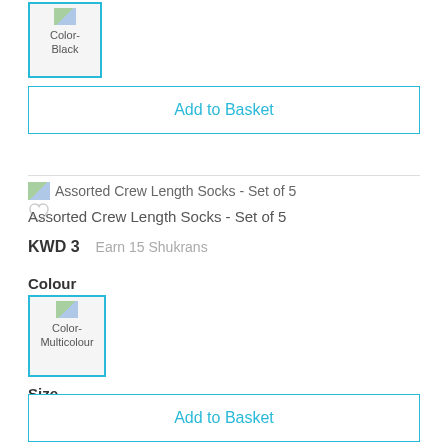[Figure (other): Color swatch thumbnail with cyan border labeled Color-Black]
Add to Basket
[Figure (other): Product thumbnail image for Assorted Crew Length Socks - Set of 5]
Assorted Crew Length Socks - Set of 5
KWD 3   Earn 15 Shukrans
Colour
[Figure (other): Color swatch with cyan border labeled Color-Multicolour]
Size
40-43
43-46
Add to Basket